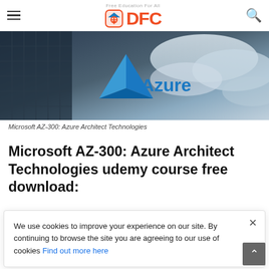DFC — Free Education For All (navigation bar with hamburger menu and search icon)
[Figure (photo): Azure logo (blue triangle with 'Azure' text) against a dark cloudy sky and building background]
Microsoft AZ-300: Azure Architect Technologies
Microsoft AZ-300: Azure Architect Technologies udemy course free download:
What you'll learn:
• Architect various technologies within the Azure platform
We use cookies to improve your experience on our site. By continuing to browse the site you are agreeing to our use of cookies Find out more here